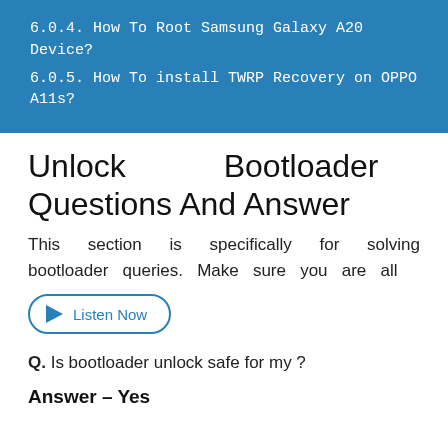6.0.4. How To Root Samsung Galaxy A20 Device?
6.0.5. How To install TWRP Recovery on OPPO A11s?
Unlock Bootloader Questions And Answer
This section is specifically for solving bootloader queries. Make sure you are all
[Figure (other): Listen Now audio button with play triangle icon and rounded border]
Q. Is bootloader unlock safe for my ?
Answer – Yes